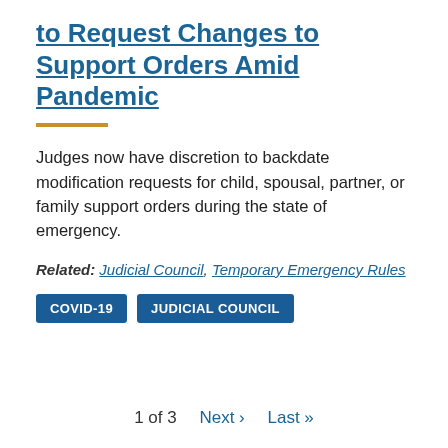to Request Changes to Support Orders Amid Pandemic
Judges now have discretion to backdate modification requests for child, spousal, partner, or family support orders during the state of emergency.
Related: Judicial Council, Temporary Emergency Rules
COVID-19
JUDICIAL COUNCIL
1 of 3  Next ›  Last »